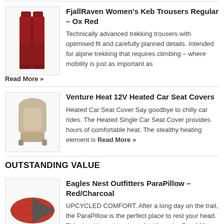[Figure (photo): FjallRaven Women's Keb Trousers in Ox Red color, shown hanging]
FjallRaven Women’s Keb Trousers Regular – Ox Red
Technically advanced trekking trousers with optimised fit and carefully planned details. Intended for alpine trekking that requires climbing – where mobility is just as important as
Read More »
[Figure (photo): Venture Heat 12V Heated Car Seat Cover, beige colored]
Venture Heat 12V Heated Car Seat Covers
Heated Car Seat Cover Say goodbye to chilly car rides. The Heated Single Car Seat Cover provides hours of comfortable heat. The stealthy heating element is Read More »
OUTSTANDING VALUE
[Figure (photo): Eagles Nest Outfitters ParaPillow in Red/Charcoal colors]
Eagles Nest Outfitters ParaPillow – Red/Charcoal
UPCYCLED COMFORT. After a long day on the trail, the ParaPillow is the perfect place to rest your head. This durable cushion is crafted from the Read More »
[Figure (photo): Therm-ic SmartPack Replacement Remote product image]
Therm-ic SmartPack Replacement Remote